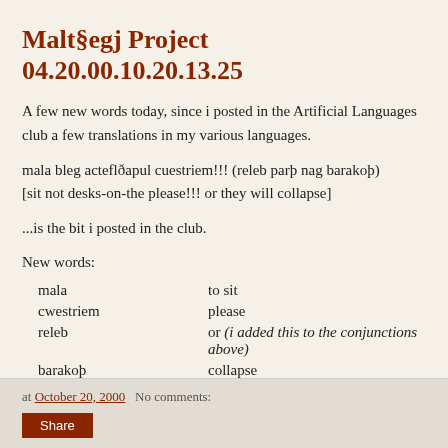Malt§egj Project 04.20.00.10.20.13.25
A few new words today, since i posted in the Artificial Languages club a few translations in my various languages.
mala bleg acteflðapul cuestriem!!! (releb parþ nag barakoþ)
[sit not desks-on-the please!!! or they will collapse]
...is the bit i posted in the club.
New words:
| mala | to sit |
| cwestriem | please |
| releb | or (i added this to the conjunctions above) |
| barakoþ | collapse |
at October 20, 2000   No comments:   Share